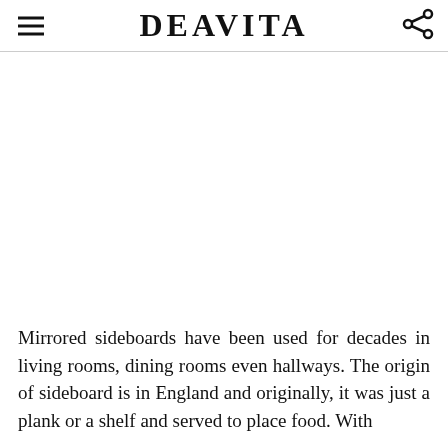DEAVITA
[Figure (photo): White/blank image area placeholder for a mirrored sideboard photo]
Mirrored sideboards have been used for decades in living rooms, dining rooms even hallways. The origin of sideboard is in England and originally, it was just a plank or a shelf and served to place food. With